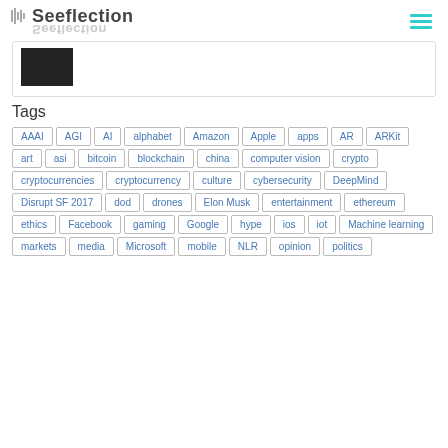Seeflection
[Figure (photo): Dark/black partial photo thumbnail in a card box]
Tags
AAAI
AGI
AI
alphabet
Amazon
Apple
apps
AR
ARKit
art
asi
bitcoin
blockchain
china
computer vision
crypto
cryptocurrencies
cryptocurrency
culture
cybersecurity
DeepMind
Disrupt SF 2017
dod
drones
Elon Musk
entertainment
ethereum
ethics
Facebook
gaming
Google
hype
ios
iot
Machine learning
markets
media
Microsoft
mobile
NLR
opinion
politics